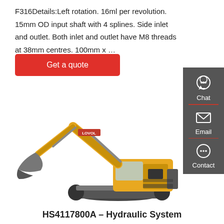F316Details:Left rotation. 16ml per revolution. 15mm OD input shaft with 4 splines. Side inlet and outlet. Both inlet and outlet have M8 threads at 38mm centres. 100mm x …
Get a quote
[Figure (photo): Yellow LOVOL hydraulic excavator on white background, full side view showing boom, arm, bucket, cab, and tracked undercarriage]
HS4117800A – Hydraulic System